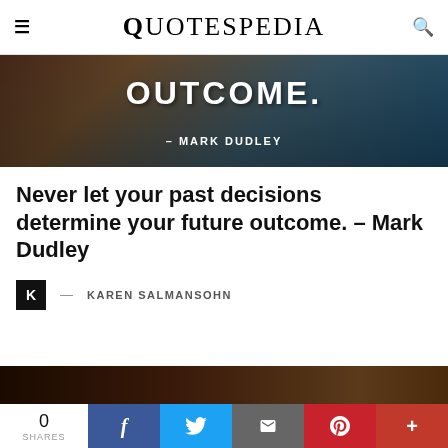QUOTESPEDIA
[Figure (photo): Aerial photo background with bold white text 'OUTCOME.' and attribution '- MARK DUDLEY']
Never let your past decisions determine your future outcome. – Mark Dudley
K — KAREN SALMANSOHN
[Figure (photo): Partial dark-toned photo at bottom of page]
0 SHARES | Facebook | Twitter | Email | Pinterest | Plus